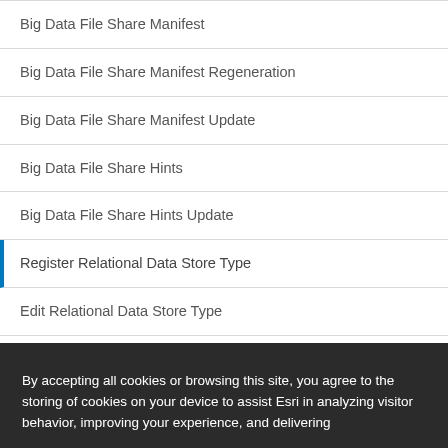Big Data File Share Manifest
Big Data File Share Manifest Regeneration
Big Data File Share Manifest Update
Big Data File Share Hints
Big Data File Share Hints Update
Register Relational Data Store Type
Edit Relational Data Store Type
Relational Data Store Type
Relational Data Store Types
By accepting all cookies or browsing this site, you agree to the storing of cookies on your device to assist Esri in analyzing visitor behavior, improving your experience, and delivering